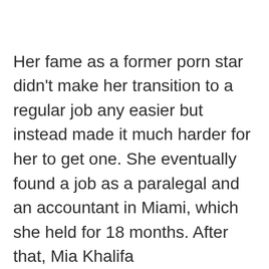Her fame as a former porn star didn't make her transition to a regular job any easier but instead made it much harder for her to get one. She eventually found a job as a paralegal and an accountant in Miami, which she held for 18 months. After that, Mia Khalifa